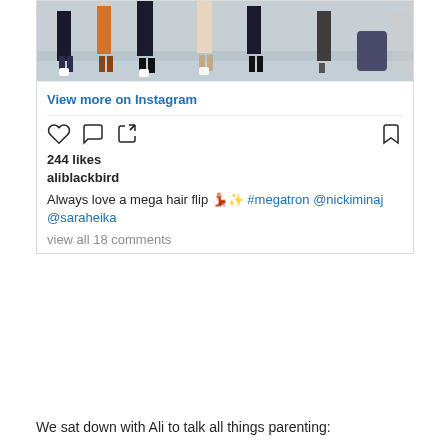[Figure (photo): Instagram post screenshot showing people's legs and feet in a dance studio or gym setting, viewed from low angle]
View more on Instagram
244 likes
aliblackbird
Always love a mega hair flip 💃🏼✨ #megatron @nickiminaj @saraheika
view all 18 comments
We sat down with Ali to talk all things parenting: